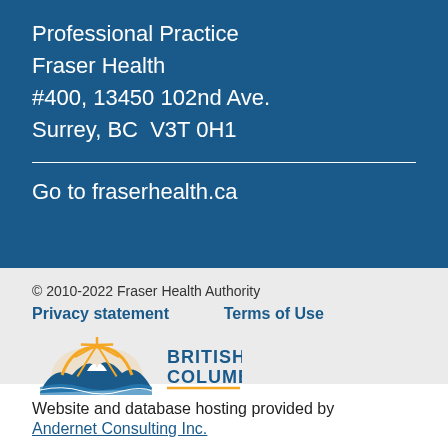Professional Practice
Fraser Health
#400, 13450 102nd Ave.
Surrey, BC  V3T 0H1
Go to fraserhealth.ca
© 2010-2022 Fraser Health Authority
Privacy statement    Terms of Use
[Figure (logo): British Columbia provincial government logo with sun and mountains]
Website and database hosting provided by
Andernet Consulting Inc.